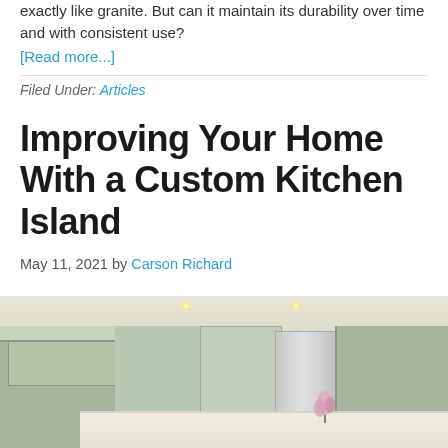exactly like granite. But can it maintain its durability over time and with consistent use?
[Read more...]
Filed Under: Articles
Improving Your Home With a Custom Kitchen Island
May 11, 2021 by Carson Richard
[Figure (photo): Interior photo of a large custom kitchen with sage green/gray cabinetry, white marble countertops, stainless steel refrigerator, recessed lighting, and a kitchen island in the foreground]